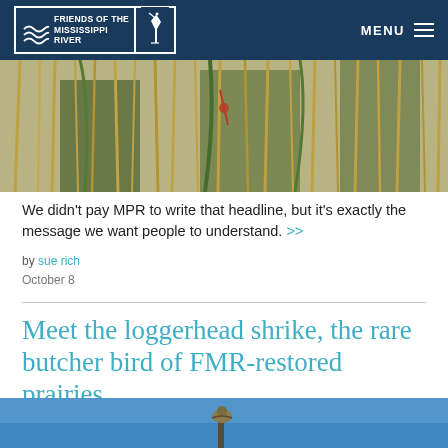Friends of the Mississippi River — MENU
[Figure (photo): Close-up photo of dry grass and reeds in a wetland or prairie setting]
We didn't pay MPR to write that headline, but it's exactly the message we want people to understand. >>
by sue rich
October 8
Meet the loggerhead shrike, the rare butcher bird of FMR-restored prairies
[Figure (photo): Bottom portion of a photo showing a bird on a post against a blue sky]